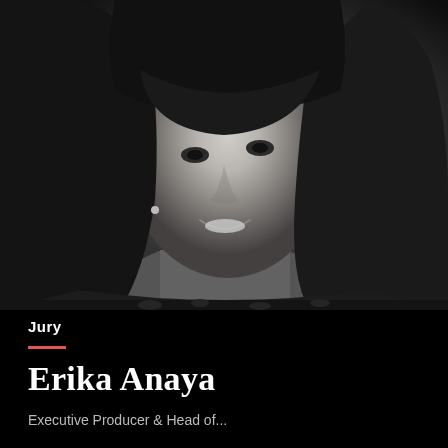[Figure (photo): Black and white professional portrait photo of Erika Anaya, a woman with dark shoulder-length hair with bangs, smiling, wearing a leopard print top, against a dark background.]
Jury
Erika Anaya
Executive Producer & Head of...